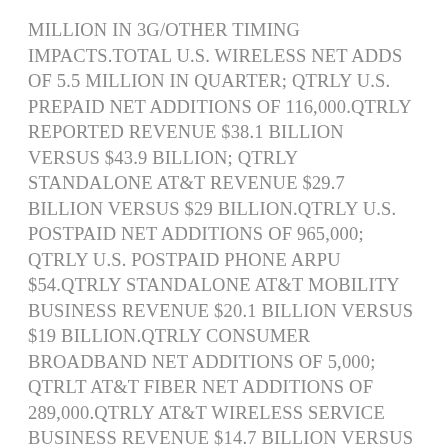MILLION IN 3G/OTHER TIMING IMPACTS.TOTAL U.S. WIRELESS NET ADDS OF 5.5 MILLION IN QUARTER; QTRLY U.S. PREPAID NET ADDITIONS OF 116,000.QTRLY REPORTED REVENUE $38.1 BILLION VERSUS $43.9 BILLION; QTRLY STANDALONE AT&T REVENUE $29.7 BILLION VERSUS $29 BILLION.QTRLY U.S. POSTPAID NET ADDITIONS OF 965,000; QTRLY U.S. POSTPAID PHONE ARPU $54.QTRLY STANDALONE AT&T MOBILITY BUSINESS REVENUE $20.1 BILLION VERSUS $19 BILLION.QTRLY CONSUMER BROADBAND NET ADDITIONS OF 5,000; QTRLT AT&T FIBER NET ADDITIONS OF 289,000.QTRLY AT&T WIRELESS SERVICE BUSINESS REVENUE $14.7 BILLION VERSUS $14 BILLION.QTRLY AT&T FIBER SUBSCRIBERS OF 6.3 MILLION; QTRLY AT&T FIBER ARPU $60.41.GLOBAL HBO MAX AND HBO ADDED 12.8 MILLION SUBSCRIBERS IN QUARTER, UP 3 MILLION SEQUENTIALLY.QTRLY GLOBAL HBO MAX AND HBO DOMESTIC SUBSCRIBER ARPU OF $11.24 REMAINS CONFIDENT IN ABILITY TO